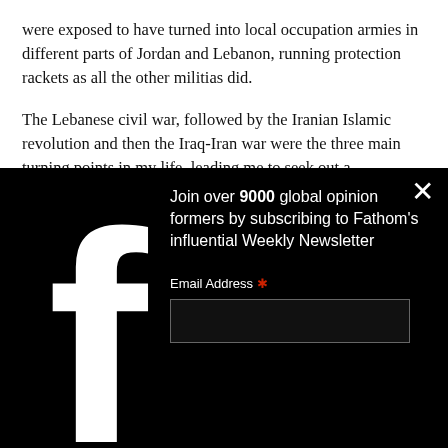were exposed to have turned into local occupation armies in different parts of Jordan and Lebanon, running protection rackets as all the other militias did.
The Lebanese civil war, followed by the Iranian Islamic revolution and then the Iraq-Iran war were the three main turning points in my life, leading me to seek out a completely different way of thinking about politics; to turn away from blueprints that talked about t... Imperi... my ow... had be... this wa... turn aw... conflic... nature... Fear w...
[Figure (screenshot): A modal popup overlay with black background showing a Facebook icon on the left and newsletter subscription form on the right. Text reads: 'Join over 9000 global opinion formers by subscribing to Fathom's influential Weekly Newsletter'. Below is an Email Address field with red asterisk and an empty text input box. A white X close button appears in the top right corner.]
The fa...